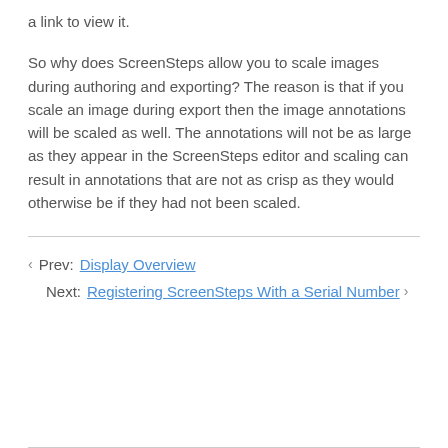a link to view it.
So why does ScreenSteps allow you to scale images during authoring and exporting? The reason is that if you scale an image during export then the image annotations will be scaled as well. The annotations will not be as large as they appear in the ScreenSteps editor and scaling can result in annotations that are not as crisp as they would otherwise be if they had not been scaled.
Prev: Display Overview
Next: Registering ScreenSteps With a Serial Number